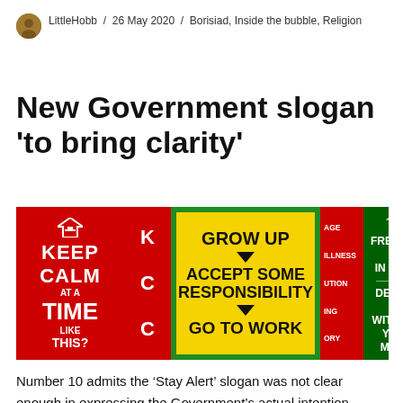LittleHobb / 26 May 2020 / Borisiad, Inside the bubble, Religion
New Government slogan 'to bring clarity'
[Figure (illustration): Composite image of parody government poster panels: red 'Keep Calm at a Time Like This?' panel, red panel with letters, yellow 'Grow Up / Accept Some Responsibility / Go To Work' panel, red partial panel, and green 'Freedom is in Peril / Defend it With All Your Might' panel.]
Number 10 admits the ‘Stay Alert’ slogan was not clear enough in expressing the Government’s actual intention for the coronavirus lockdown. A clearer slogan has been